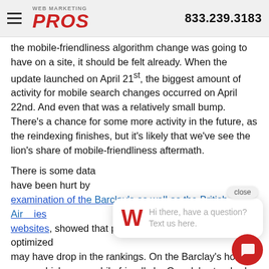WEB MARKETING PROS  833.239.3183
the mobile-friendliness algorithm change was going to have on a site, it should be felt already. When the update launched on April 21st, the biggest amount of activity for mobile search changes occurred on April 22nd. And even that was a relatively small bump. There's a chance for some more activity in the future, as the reindexing finishes, but it's likely that we've see the lion's share of mobile-friendliness aftermath.
There is some da[ta about which websites may] have been hurt b[y the update. A detailed] examination of th[e Barclay's as well as the British Air]lines websites, showed that pages that weren't mobile opti[mize]d may have drop in the rankings. On the Barclay's ho[me] page, which was mobile friendly by Google's standards, the
[Figure (screenshot): Chat popup widget with W logo and text: Hi there, have a question? Text us here. Close button above popup. Red circular chat button at bottom right.]